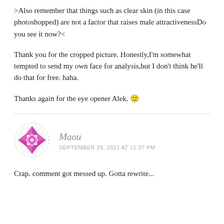>Also remember that things such as clear skin (in this case photoshopped) are not a factor that raises male attractivenessDo you see it now?<
Thank you for the cropped picture. Honestly,I'm somewhat tempted to send my own face for analysis,but I don't think he'll do that for free. haha.
Thanks again for the eye opener Alek. 🙂
[Figure (illustration): Pink/magenta geometric kaleidoscope-style avatar icon inside a dashed circular border]
Maou
SEPTEMBER 29, 2021 AT 11:37 PM
Crap. comment got messed up. Gotta rewrite...